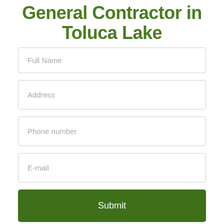General Contractor in Toluca Lake
Full Name
Address
Phone number
E-mail
Submit